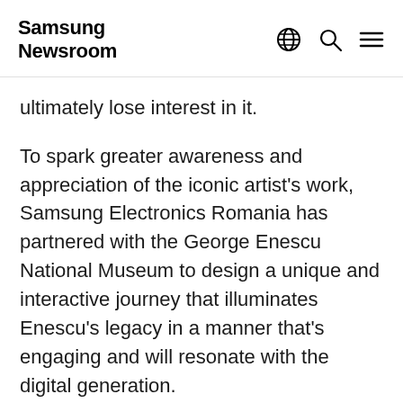Samsung Newsroom
ultimately lose interest in it.
To spark greater awareness and appreciation of the iconic artist's work, Samsung Electronics Romania has partnered with the George Enescu National Museum to design a unique and interactive journey that illuminates Enescu's legacy in a manner that's engaging and will resonate with the digital generation.